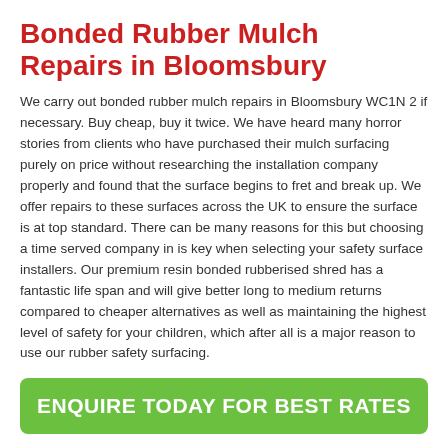Bonded Rubber Mulch Repairs in Bloomsbury
We carry out bonded rubber mulch repairs in Bloomsbury WC1N 2 if necessary. Buy cheap, buy it twice. We have heard many horror stories from clients who have purchased their mulch surfacing purely on price without researching the installation company properly and found that the surface begins to fret and break up. We offer repairs to these surfaces across the UK to ensure the surface is at top standard. There can be many reasons for this but choosing a time served company in is key when selecting your safety surface installers. Our premium resin bonded rubberised shred has a fantastic life span and will give better long to medium returns compared to cheaper alternatives as well as maintaining the highest level of safety for your children, which after all is a major reason to use our rubber safety surfacing.
ENQUIRE TODAY FOR BEST RATES